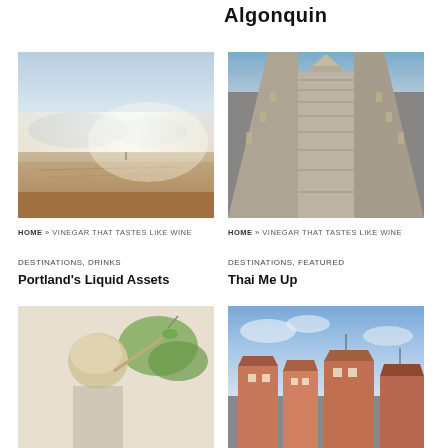Algonquin
[Figure (photo): Misty landscape with water, mountains in background, sandy foreground]
[Figure (photo): Stone temple staircase leading up to ornate Thai pagoda]
HOME » VINEGAR THAT TASTES LIKE WINE
DESTINATIONS, DRINKS
Portland's Liquid Assets
HOME » VINEGAR THAT TASTES LIKE WINE
DESTINATIONS, FEATURED
Thai Me Up
[Figure (photo): Person with light hair holding a stick near green plant]
[Figure (photo): European style buildings with orange rooftops under blue cloudy sky]